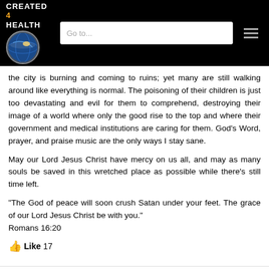CREATED 4 HEALTH — Go to...
the city is burning and coming to ruins; yet many are still walking around like everything is normal. The poisoning of their children is just too devastating and evil for them to comprehend, destroying their image of a world where only the good rise to the top and where their government and medical institutions are caring for them. God's Word, prayer, and praise music are the only ways I stay sane.
May our Lord Jesus Christ have mercy on us all, and may as many souls be saved in this wretched place as possible while there's still time left.
“The God of peace will soon crush Satan under your feet. The grace of our Lord Jesus Christ be with you.”
Romans 16:20
Like 17
Kathy Pileggi  March 16, 2022 at 8:30 am · Reply